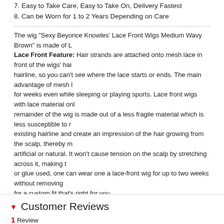7. Easy to Take Care, Easy to Take On, Delivery Fastest
8. Can be Worn for 1 to 2 Years Depending on Care
The wig "Sexy Beyonce Knowles' Lace Front Wigs Medium Wavy Brown" is made of L... Lace Front Feature: Hair strands are attached onto mesh lace in front of the wigs' hairline, so you can't see where the lace starts or ends. The main advantage of mesh lace is that it can be worn for weeks even while sleeping or playing sports. Lace front wigs with lace material only... remainder of the wig is made out of a less fragile material which is less susceptible to... existing hairline and create an impression of the hair growing from the scalp, thereby making it hard to tell whether artificial or natural. It won't cause tension on the scalp by stretching across it, making the wig comfortable. With tape or glue used, one can wear one a lace-front wig for up to two weeks without removing it. You can also adjust it for a custom fit that's right for you. Top Quality High Heated Fiber Feature: The quality of top grade quality synthetic hair... as your own hair, except it can't be dyed. The lifespan of Top Grade Quality synthetic hair... Fairywigs.com offers Top Grade Quality Swiss Fiber. It feels smooth; almost the same... 180°C.
Customer Reviews
1 Review